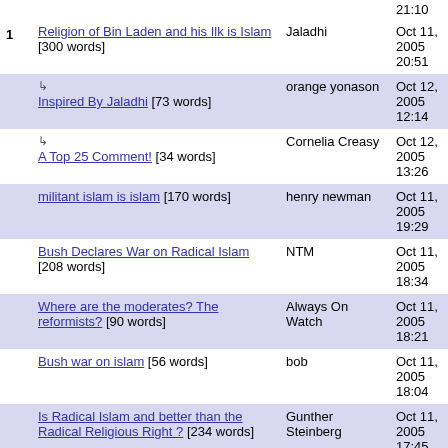| # | Title | Author | Date |
| --- | --- | --- | --- |
|  | 21:10 |  |  |
| 1 | Religion of Bin Laden and his Ilk is Islam [300 words] | Jaladhi | Oct 11, 2005 20:51 |
|  | ↳ Inspired By Jaladhi [73 words] | orange yonason | Oct 12, 2005 12:14 |
|  | ↳ A Top 25 Comment! [34 words] | Cornelia Creasy | Oct 12, 2005 13:26 |
|  | militant islam is islam [170 words] | henry newman | Oct 11, 2005 19:29 |
|  | Bush Declares War on Radical Islam [208 words] | NTM | Oct 11, 2005 18:34 |
|  | Where are the moderates? The reformists? [90 words] | Always On Watch | Oct 11, 2005 18:21 |
|  | Bush war on islam [56 words] | bob | Oct 11, 2005 18:04 |
|  | Is Radical Islam and better than the Radical Religious Right ? [234 words] | Gunther Steinberg | Oct 11, 2005 17:45 |